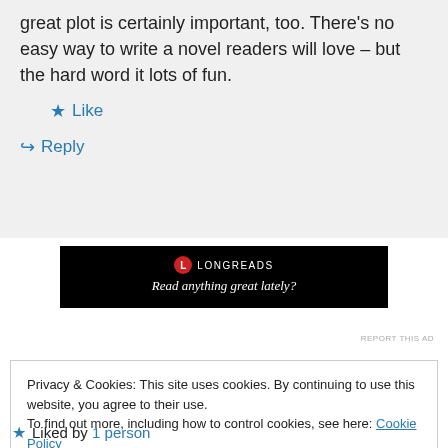great plot is certainly important, too. There's no easy way to write a novel readers will love – but the hard word it lots of fun.
★ Like
↳ Reply
[Figure (screenshot): Longreads ad banner with black background reading 'Read anything great lately?']
REPORT THIS AD
Privacy & Cookies: This site uses cookies. By continuing to use this website, you agree to their use.
To find out more, including how to control cookies, see here: Cookie Policy
Close and accept
★ Liked by 1 person